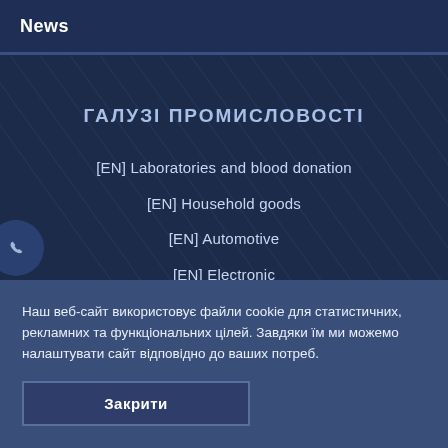News
ГАЛУЗІ ПРОМИСЛОВОСТІ
[EN] Laboratories and blood donation
[EN] Household goods
[EN] Automotive
[EN] Electronic
Наш веб‑сайт використовує файли cookie для статистичних, рекламних та функціональних цілей. Завдяки їм ми можемо налаштувати сайт відповідно до ваших потреб.
Закрити